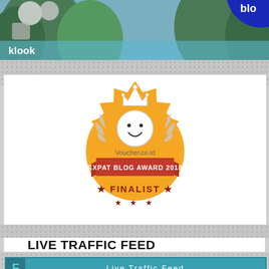[Figure (photo): Klook travel advertisement banner showing tropical cliffs and water scenery with Klook logo and blue circle brand element in top right]
[Figure (illustration): Voucher.co.id Expat Blog Award 2018 Finalist badge — gold sunburst/coin shaped badge with a smiley face mascot wearing a crown, laurel wreath, red ribbon banner reading 'EXPAT BLOG AWARD 2018', and 'FINALIST' with stars in gold text below]
LIVE TRAFFIC FEED
[Figure (screenshot): Live Traffic Feed widget with teal header, F icon on left, showing visitor entries: 'A visitor from Los angeles, California viewed bowdywanders.com: 10 Stunning Reasons to Visit Tro 46 secs ago' and 'A visitor from Fairfield, Connecticut viewed bowdywanders.com: La']